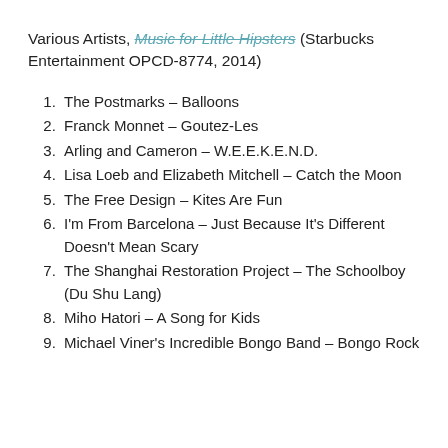Various Artists, Music for Little Hipsters (Starbucks Entertainment OPCD-8774, 2014)
1. The Postmarks – Balloons
2. Franck Monnet – Goutez-Les
3. Arling and Cameron – W.E.E.K.E.N.D.
4. Lisa Loeb and Elizabeth Mitchell – Catch the Moon
5. The Free Design – Kites Are Fun
6. I'm From Barcelona – Just Because It's Different Doesn't Mean Scary
7. The Shanghai Restoration Project – The Schoolboy (Du Shu Lang)
8. Miho Hatori – A Song for Kids
9. Michael Viner's Incredible Bongo Band – Bongo Rock